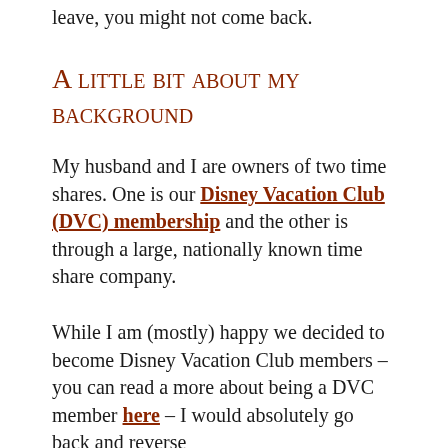A time share sales person knows that if you leave, you might not come back.
A little bit about my background
My husband and I are owners of two time shares. One is our Disney Vacation Club (DVC) membership and the other is through a large, nationally known time share company.
While I am (mostly) happy we decided to become Disney Vacation Club members – you can read a more about being a DVC member here – I would absolutely go back and reverse